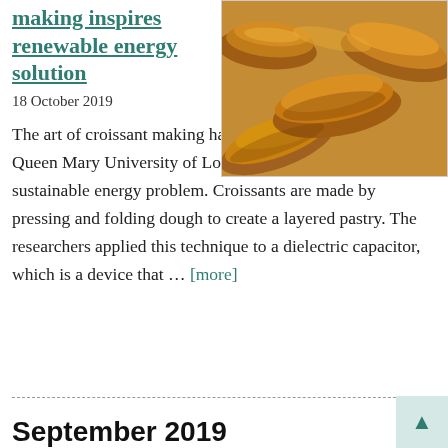making inspires renewable energy solution
18 October 2019
[Figure (photo): Photograph of golden baked croissants piled together in a basket or tray, warm brown tones]
The art of croissant making has inspired researchers from Queen Mary University of London to find a solution to a sustainable energy problem. Croissants are made by pressing and folding dough to create a layered pastry. The researchers applied this technique to a dielectric capacitor, which is a device that … [more]
September 2019